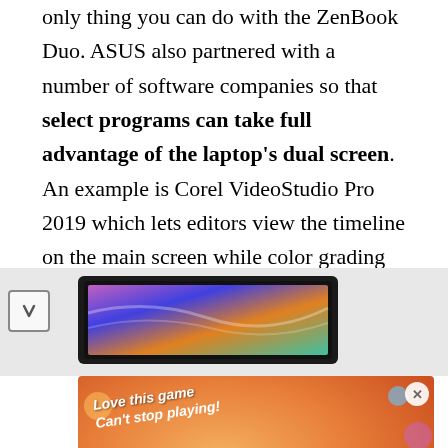only thing you can do with the ZenBook Duo. ASUS also partnered with a number of software companies so that select programs can take full advantage of the laptop's dual screen. An example is Corel VideoStudio Pro 2019 which lets editors view the timeline on the main screen while color grading on the bottom display. Right now though, there aren't a lot of programs that are optimized for the ZenBook Duo.
[Figure (photo): Partial view of a laptop (ASUS ZenBook Duo) showing its dual screen design, in a light gray background area. A small chevron/arrow icon is visible on the left side.]
[Figure (screenshot): Advertisement banner with orange gradient background. Text reads 'Love this game Can't stop playing!' and a green 'Download Now' button. Shows colorful bubbles/game elements and a 'Bubble Shooter Animal World' badge in the bottom right corner.]